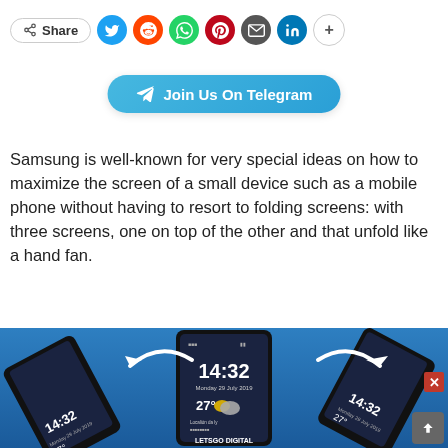[Figure (infographic): Social sharing bar with Share pill button, Twitter, Reddit, WhatsApp, Pinterest, Email, LinkedIn, and plus buttons]
[Figure (infographic): Join Us On Telegram button in blue gradient with paper plane icon]
Samsung is well-known for very special ideas on how to maximize the screen of a small device such as a mobile phone without having to resort to folding screens: with three screens, one on top of the other and that unfold like a hand fan.
[Figure (photo): Samsung tri-fold phone concept by LetsGo Digital showing three phone screens unfolding like a hand fan, with arrows indicating the folding mechanism. Center phone shows 14:32, Monday 29 July 2019, 27 degrees weather. Blue gradient background.]